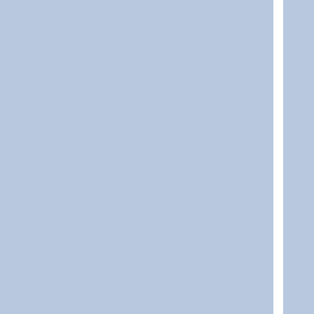[Figure (other): Page showing two large blue-grey rectangular panels side by side separated by a white vertical divider, with a right-side column containing 16 rows each showing a cursive lowercase 'v' letter in blue italic font on a light grey background, separated by thin horizontal lines.]